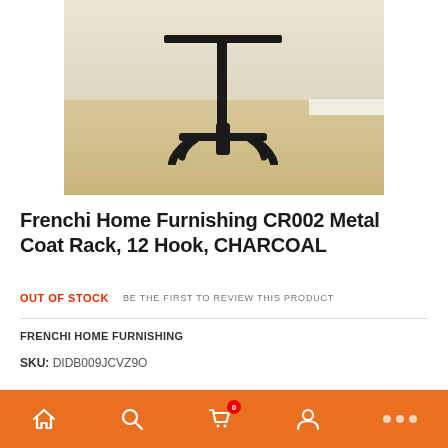[Figure (photo): Photo of a black metal coat rack base with 4-leg stand on a light wood floor against a beige wall]
Frenchi Home Furnishing CR002 Metal Coat Rack, 12 Hook, CHARCOAL
OUT OF STOCK    BE THE FIRST TO REVIEW THIS PRODUCT
FRENCHI HOME FURNISHING
SKU: DIDB009JCVZ9O